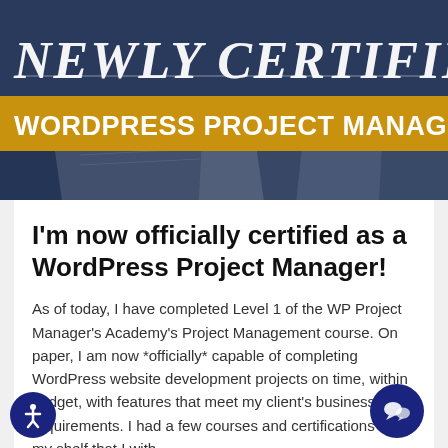[Figure (illustration): Banner image with dark blue background showing a desk with papers. Text overlay reads 'NEWLY CERTIFIED' in white italic script at top. Below it is an orange/gold bar with white bold text 'WORDPRESS PROJECT MANAGER'.]
I'm now officially certified as a WordPress Project Manager!
As of today, I have completed Level 1 of the WP Project Manager's Academy's Project Management course. On paper, I am now *officially* capable of completing WordPress website development projects on time, within budget, with features that meet my client's business requirements. I had a few courses and certifications on my shelf that I with...